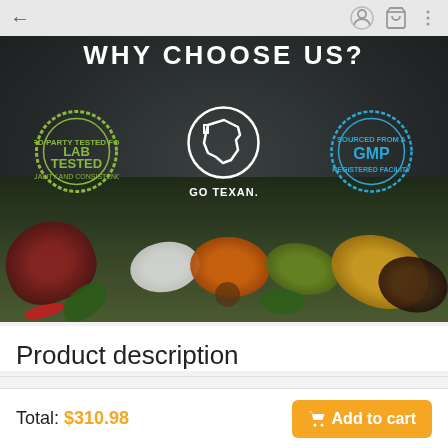← (back navigation with user icon, cart icon, menu icon)
[Figure (photo): Dark chalkboard background with spices and herbs on spoons at the bottom, with three certification badges: Lab Tested (green circular badge), Go Texan (white Texas shape logo), and GMP (blue circular badge). Title reads WHY CHOOSE US?]
WHY CHOOSE US?
LAB TESTED · GO TEXAN. · GMP
Product description
Total: $310.98
Add to cart